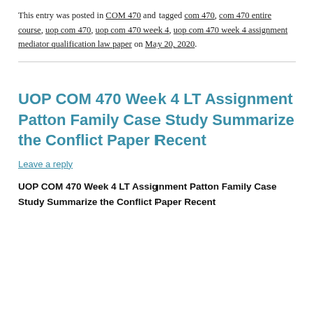This entry was posted in COM 470 and tagged com 470, com 470 entire course, uop com 470, uop com 470 week 4, uop com 470 week 4 assignment mediator qualification law paper on May 20, 2020.
UOP COM 470 Week 4 LT Assignment Patton Family Case Study Summarize the Conflict Paper Recent
Leave a reply
UOP COM 470 Week 4 LT Assignment Patton Family Case Study Summarize the Conflict Paper Recent